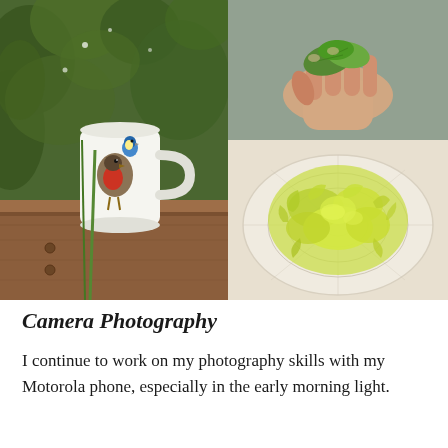[Figure (photo): A collage of three garden/nature photos. Left: a decorative ceramic mug with painted birds (robin with red breast, blue tit) sitting in a wooden raised garden bed surrounded by green leafy plants. Top right: a hand holding fresh green leaves. Bottom right: bright yellow-green frisée lettuce in a white colander/strainer viewed from above.]
Camera Photography
I continue to work on my photography skills with my Motorola phone, especially in the early morning light.